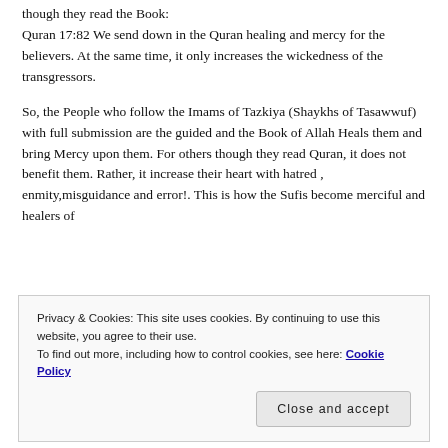though they read the Book:
Quran 17:82 We send down in the Quran healing and mercy for the believers. At the same time, it only increases the wickedness of the transgressors.
So, the People who follow the Imams of Tazkiya (Shaykhs of Tasawwuf) with full submission are the guided and the Book of Allah Heals them and bring Mercy upon them. For others though they read Quran, it does not benefit them. Rather, it increase their heart with hatred , enmity,misguidance and error!. This is how the Sufis become merciful and healers of
Privacy & Cookies: This site uses cookies. By continuing to use this website, you agree to their use.
To find out more, including how to control cookies, see here: Cookie Policy
Close and accept
fools, by the Spiritual guidance (Tarbiyya) and Spiritual